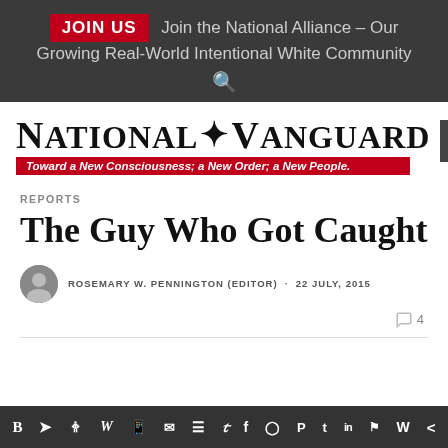JOIN US  Join the National Alliance – Our Growing Real-World Intentional White Community
[Figure (logo): National Vanguard logo with laurel emblem and red tagline: Toward a New Consciousness; a New Order; a New People.]
REPORTS
The Guy Who Got Caught
ROSEMARY W. PENNINGTON (EDITOR) · 22 JULY, 2015
Social media share icons bar